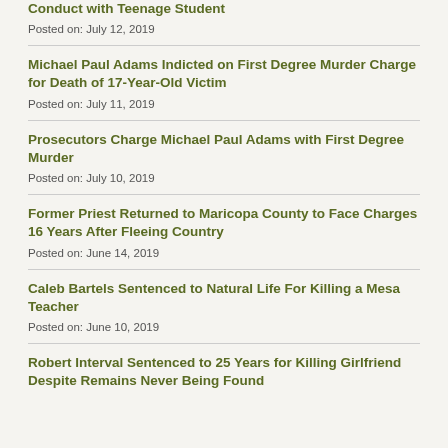Conduct with Teenage Student
Posted on: July 12, 2019
Michael Paul Adams Indicted on First Degree Murder Charge for Death of 17-Year-Old Victim
Posted on: July 11, 2019
Prosecutors Charge Michael Paul Adams with First Degree Murder
Posted on: July 10, 2019
Former Priest Returned to Maricopa County to Face Charges 16 Years After Fleeing Country
Posted on: June 14, 2019
Caleb Bartels Sentenced to Natural Life For Killing a Mesa Teacher
Posted on: June 10, 2019
Robert Interval Sentenced to 25 Years for Killing Girlfriend Despite Remains Never Being Found